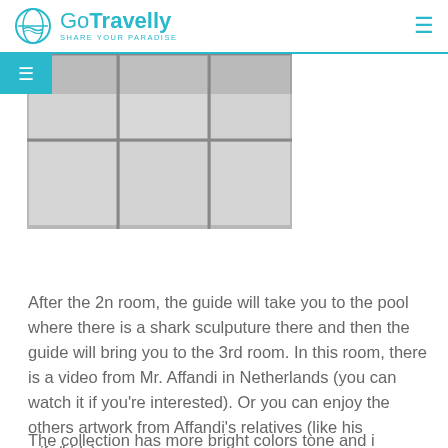GoTravelly SHARE YOUR PARADISE
[Figure (photo): Close-up photo of white ceramic floor tiles with gray grout lines]
After the 2n room, the guide will take you to the pool where there is a shark sculputure there and then the guide will bring you to the 3rd room. In this room, there is a video from Mr. Affandi in Netherlands (you can watch it if you're interested). Or you can enjoy the others artwork from Affandi's relatives (like his wife/kids).
The collection has more bright colors tone and i